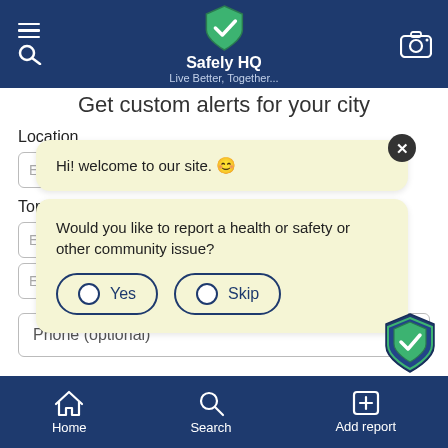Safely HQ — Live Better, Together...
Get custom alerts for your city
Location
Topics
[Figure (screenshot): Chat bot overlay with greeting 'Hi! welcome to our site. 😊' and a second bubble asking 'Would you like to report a health or safety or other community issue?' with Yes and Skip radio buttons]
Phone (optional)
Home  Search  Add report